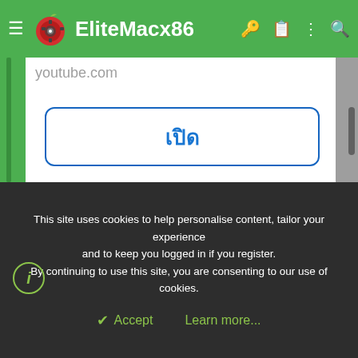EliteMacx86
youtube.com
[Figure (screenshot): White content area of a mobile browser showing youtube.com]
เปิด
This site uses cookies to help personalise content, tailor your experience and to keep you logged in if you register. By continuing to use this site, you are consenting to our use of cookies.
Accept   Learn more...